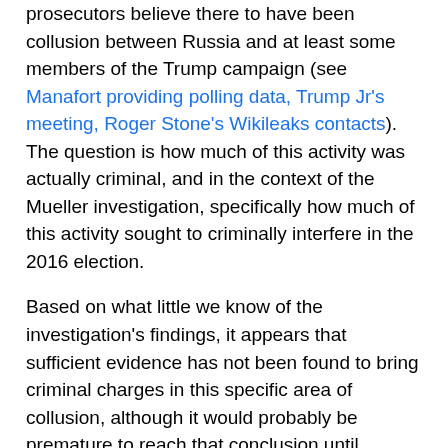prosecutors believe there to have been collusion between Russia and at least some members of the Trump campaign (see Manafort providing polling data, Trump Jr's meeting, Roger Stone's Wikileaks contacts). The question is how much of this activity was actually criminal, and in the context of the Mueller investigation, specifically how much of this activity sought to criminally interfere in the 2016 election.
Based on what little we know of the investigation's findings, it appears that sufficient evidence has not been found to bring criminal charges in this specific area of collusion, although it would probably be premature to reach that conclusion until independent eyes have seen the underlying findings. It would certainly be premature to conclude that all forms of criminal collusion have been ruled out, and flat out delusional to conclude that collusion of any sort between members of the Trump campaign and Russian Government has been effectively ruled out.
2. On obstruction, the investigation must continue
Even by the Trump Administration's own words, Mueller